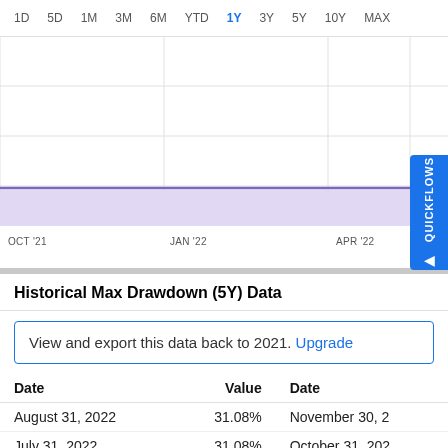[Figure (area-chart): Area chart showing max drawdown over time with purple shaded area. X-axis shows OCT '21, JAN '22, APR '22. Time period selector at top: 1D, 5D, 1M, 3M, 6M, YTD, 1Y (active/blue), 3Y, 5Y, 10Y, MAX.]
Historical Max Drawdown (5Y) Data
View and export this data back to 2021. Upgrade
| Date | Value | Date |
| --- | --- | --- |
| August 31, 2022 | 31.08% | November 30, 2... |
| July 31, 2022 | 31.08% | October 31, 202... |